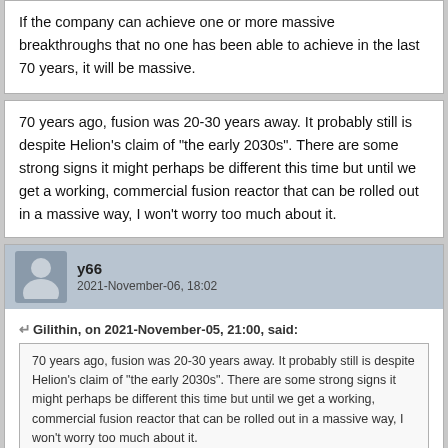If the company can achieve one or more massive breakthroughs that no one has been able to achieve in the last 70 years, it will be massive.
70 years ago, fusion was 20-30 years away. It probably still is despite Helion's claim of "the early 2030s". There are some strong signs it might perhaps be different this time but until we get a working, commercial fusion reactor that can be rolled out in a massive way, I won't worry too much about it.
y66
2021-November-06, 18:02
Gilithin, on 2021-November-05, 21:00, said:
70 years ago, fusion was 20-30 years away. It probably still is despite Helion's claim of "the early 2030s". There are some strong signs it might perhaps be different this time but until we get a working, commercial fusion reactor that can be rolled out in a massive way, I won't worry too much about it.
I will believe the hype when Gerben42 says fusion is for real.